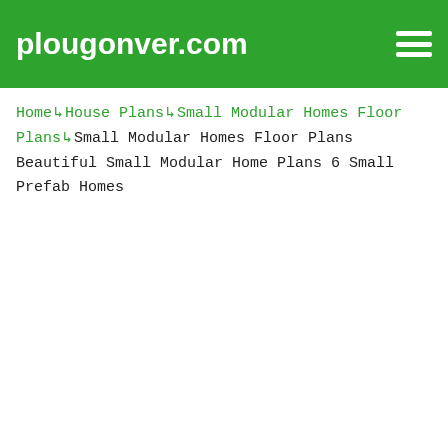plougonver.com
Home ↝ House Plans ↝ Small Modular Homes Floor Plans ↝ Small Modular Homes Floor Plans Beautiful Small Modular Home Plans 6 Small Prefab Homes